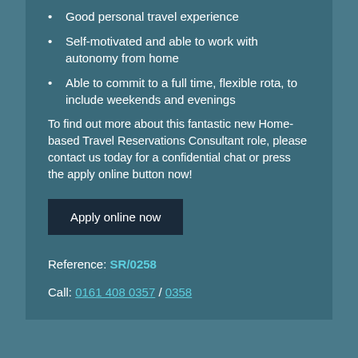Good personal travel experience
Self-motivated and able to work with autonomy from home
Able to commit to a full time, flexible rota, to include weekends and evenings
To find out more about this fantastic new Home-based Travel Reservations Consultant role, please contact us today for a confidential chat or press the apply online button now!
Apply online now
Reference: SR/0258
Call: 0161 408 0357 / 0358